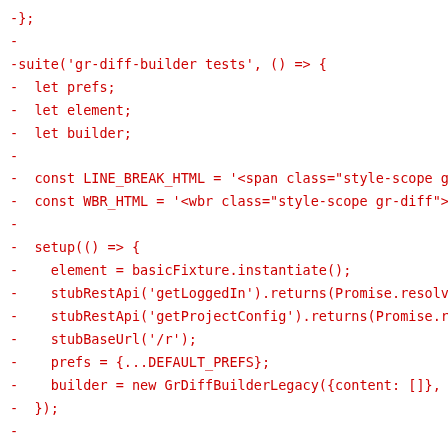-};
-
-suite('gr-diff-builder tests', () => {
-  let prefs;
-  let element;
-  let builder;
-
-  const LINE_BREAK_HTML = '<span class="style-scope g
-  const WBR_HTML = '<wbr class="style-scope gr-diff">
-
-  setup(() => {
-    element = basicFixture.instantiate();
-    stubRestApi('getLoggedIn').returns(Promise.resolv
-    stubRestApi('getProjectConfig').returns(Promise.r
-    stubBaseUrl('/r');
-    prefs = {...DEFAULT_PREFS};
-    builder = new GrDiffBuilderLegacy({content: []},
-  });
-
-  test('line_length applied with <wbr> if line_wrapp
-    builder._prefs = {line_wrapping: true, tab_size:
-    const text = 'a'.repeat(51);